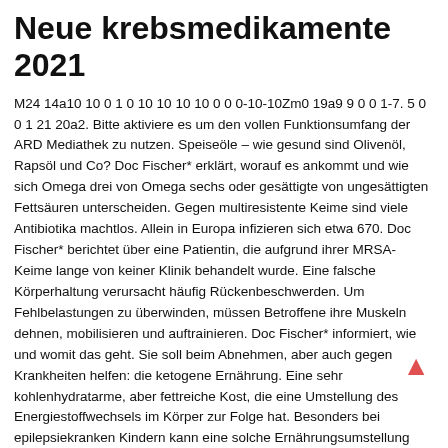Neue krebsmedikamente 2021
M24 14a10 10 0 1 0 10 10 10 10 0 0 0-10-10Zm0 19a9 9 0 0 1-7. 5 0 0 1 21 20a2. Bitte aktiviere es um den vollen Funktionsumfang der ARD Mediathek zu nutzen. Speiseöle – wie gesund sind Olivenöl, Rapsöl und Co? Doc Fischer* erklärt, worauf es ankommt und wie sich Omega drei von Omega sechs oder gesättigte von ungesättigten Fettsäuren unterscheiden. Gegen multiresistente Keime sind viele Antibiotika machtlos. Allein in Europa infizieren sich etwa 670. Doc Fischer* berichtet über eine Patientin, die aufgrund ihrer MRSA-Keime lange von keiner Klinik behandelt wurde. Eine falsche Körperhaltung verursacht häufig Rückenbeschwerden. Um Fehlbelastungen zu überwinden, müssen Betroffene ihre Muskeln dehnen, mobilisieren und auftrainieren. Doc Fischer* informiert, wie und womit das geht. Sie soll beim Abnehmen, aber auch gegen Krankheiten helfen: die ketogene Ernährung. Eine sehr kohlenhydratarme, aber fettreiche Kost, die eine Umstellung des Energiestoffwechsels im Körper zur Folge hat. Besonders bei epilepsiekranken Kindern kann eine solche Ernährungsumstellung offenbar Anfälle verringern.
Clomifen tabletten